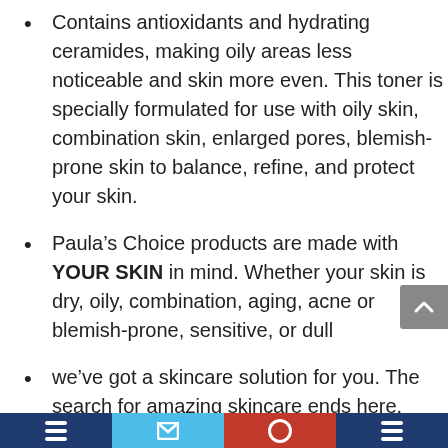Contains antioxidants and hydrating ceramides, making oily areas less noticeable and skin more even. This toner is specially formulated for use with oily skin, combination skin, enlarged pores, blemish-prone skin to balance, refine, and protect your skin.
Paula’s Choice products are made with YOUR SKIN in mind. Whether your skin is dry, oily, combination, aging, acne or blemish-prone, sensitive, or dull
we’ve got a skincare solution for you. The search for amazing skincare ends here. Finally, you found it.
Look to Paula’s Choice for highly effective skincare solutions for the face & body. Our full line